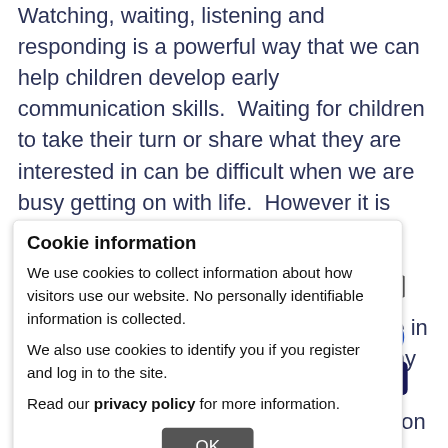Watching, waiting, listening and responding is a powerful way that we can help children develop early communication skills. Waiting for children to take their turn or share what they are interested in can be difficult when we are busy getting on with life. However it is key to giving them opportunities to develop communication and language skills. This leaflet and video from the Speech and Language Therapy Service in Greater Glasgow and Clyde outlines why and how to wait and respond. It forms part of a wider series of useful information for parents, carers and professionals.
[Figure (screenshot): Cookie information popup overlay on a webpage. Contains title 'Cookie information', two paragraphs about cookie usage, and an OK button. Behind the overlay are partially visible webpage elements including cost info, pathways text, icons, and cartoon mascots.]